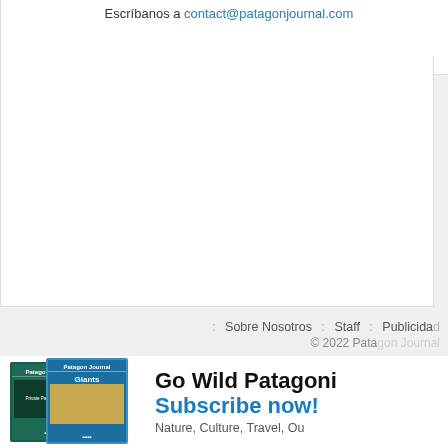Escríbanos a contact@patagonjournal.com
Sobre Nosotros | Staff | Publicidad
© 2022 Pata
[Figure (illustration): Advertisement banner for Patagonia Journal magazine subscription featuring two magazine covers (Private Parks and Giants issues) alongside bold text: Go Wild Patagoní... Subscribe now! Nature, Culture, Travel, Ou...]